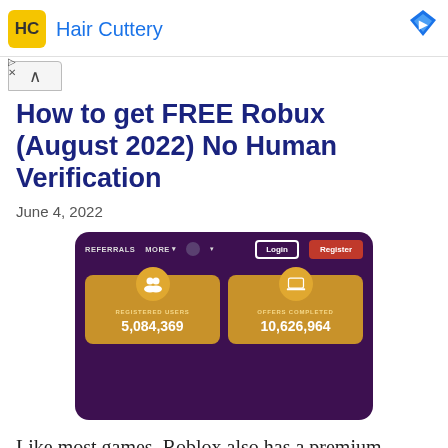Hair Cuttery
How to get FREE Robux (August 2022) No Human Verification
June 4, 2022
[Figure (screenshot): Screenshot of a Roblox free Robux website showing navigation with REFERRALS, MORE, Login and Register buttons, and two golden stat cards: Registered Users 5,084,369 and Offers Completed 10,626,964, on a dark purple background.]
Like most games, Roblox also has a premium currency that can be purchased for real